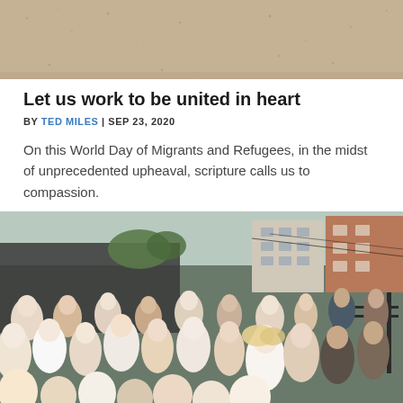[Figure (photo): Top portion of an image showing a sandy/beige textured surface, cropped at top of page.]
Let us work to be united in heart
BY TED MILES | SEP 23, 2020
On this World Day of Migrants and Refugees, in the midst of unprecedented upheaval, scripture calls us to compassion.
[Figure (photo): A large group of people, including many children and adults, gathered outdoors in front of a building. A blonde woman is visible in the foreground crowd.]